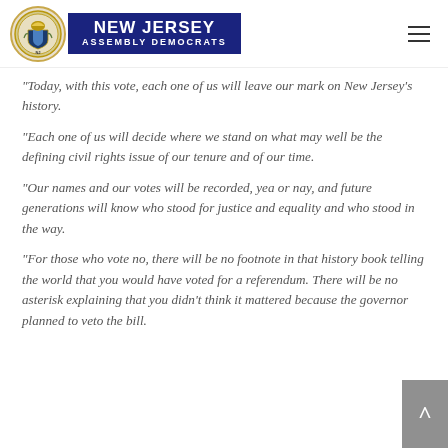New Jersey Assembly Democrats
“Today, with this vote, each one of us will leave our mark on New Jersey’s history.
“Each one of us will decide where we stand on what may well be the defining civil rights issue of our tenure and of our time.
“Our names and our votes will be recorded, yea or nay, and future generations will know who stood for justice and equality and who stood in the way.
“For those who vote no, there will be no footnote in that history book telling the world that you would have voted for a referendum. There will be no asterisk explaining that you didn’t think it mattered because the governor planned to veto the bill.